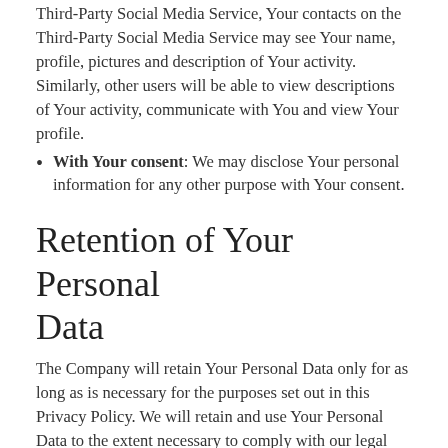Third-Party Social Media Service, Your contacts on the Third-Party Social Media Service may see Your name, profile, pictures and description of Your activity. Similarly, other users will be able to view descriptions of Your activity, communicate with You and view Your profile.
With Your consent: We may disclose Your personal information for any other purpose with Your consent.
Retention of Your Personal Data
The Company will retain Your Personal Data only for as long as is necessary for the purposes set out in this Privacy Policy. We will retain and use Your Personal Data to the extent necessary to comply with our legal obligations (for example, if we are required to retain your data to comply with applicable laws), resolve disputes, and enforce our legal agreements and policies.